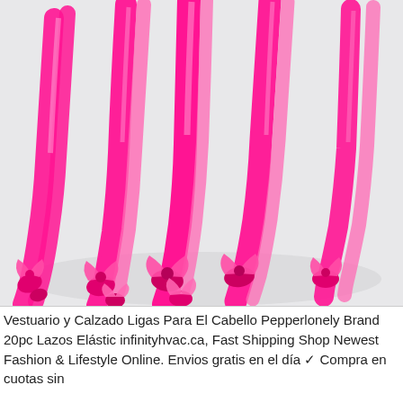[Figure (photo): Photograph of multiple bright neon pink/hot pink elastic hair ties with knotted ends, arranged in a fan-like spread on a light gray/white background.]
Vestuario y Calzado Ligas Para El Cabello Pepperlonely Brand 20pc Lazos Elástic infinityhvac.ca, Fast Shipping Shop Newest Fashion & Lifestyle Online. Envios gratis en el día ✓ Compra en cuotas sin